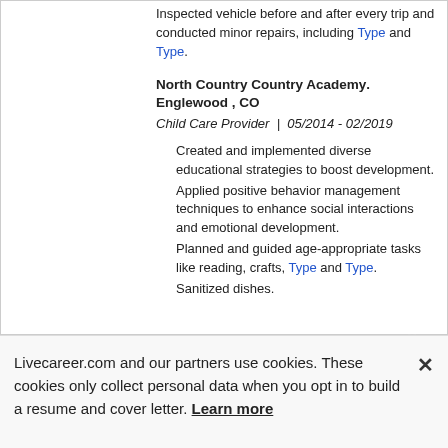Inspected vehicle before and after every trip and conducted minor repairs, including Type and Type.
North Country Academy. Englewood , CO
Child Care Provider  |  05/2014 - 02/2019
Created and implemented diverse educational strategies to boost development.
Applied positive behavior management techniques to enhance social interactions and emotional development.
Planned and guided age-appropriate tasks like reading, crafts, Type and Type.
Sanitized dishes.
Livecareer.com and our partners use cookies. These cookies only collect personal data when you opt in to build a resume and cover letter. Learn more